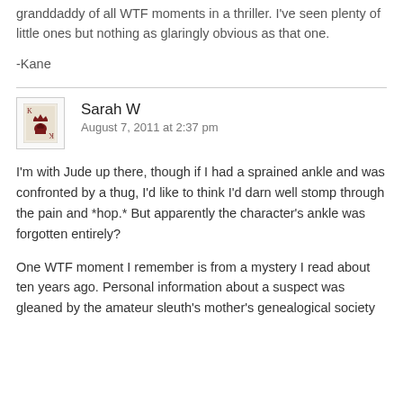granddaddy of all WTF moments in a thriller. I've seen plenty of little ones but nothing as glaringly obvious as that one.
-Kane
Sarah W
August 7, 2011 at 2:37 pm
I'm with Jude up there, though if I had a sprained ankle and was confronted by a thug, I'd like to think I'd darn well stomp through the pain and *hop.* But apparently the character's ankle was forgotten entirely?
One WTF moment I remember is from a mystery I read about ten years ago. Personal information about a suspect was gleaned by the amateur sleuth's mother's genealogical society